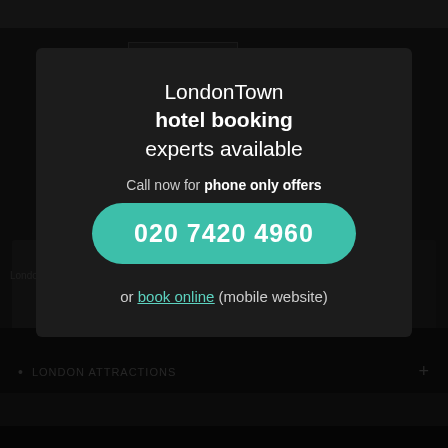[Figure (screenshot): Dark website background showing a London hotel website with navigation links and footer items]
LondonTown hotel booking experts available
Call now for phone only offers
020 7420 4960
or book online (mobile website)
LONDON ATTRACTIONS